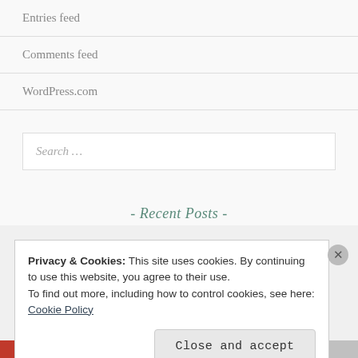Entries feed
Comments feed
WordPress.com
Search ...
- Recent Posts -
Privacy & Cookies: This site uses cookies. By continuing to use this website, you agree to their use.
To find out more, including how to control cookies, see here: Cookie Policy
Close and accept